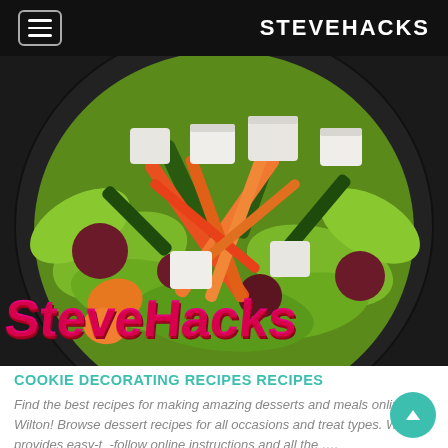STEVEHACKS
[Figure (illustration): Close-up illustration of a colorful salad on a dark plate with green lettuce, orange and red carrot sticks, white cheese cubes, dark beets, and green vegetables. The SteveHacks logo overlays the bottom of the image in pink and red stylized text.]
COOKIE DECORATING RECIPES RECIPES
Find the best recipes for making amazing desserts and meals online at Wilton! Browse dessert recipes for all occasions and treat types. Wilton provides easy-to-follow online instructions and all the ….